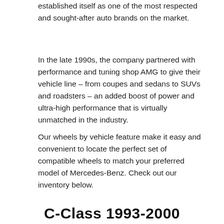established itself as one of the most respected and sought-after auto brands on the market.
In the late 1990s, the company partnered with performance and tuning shop AMG to give their vehicle line – from coupes and sedans to SUVs and roadsters – an added boost of power and ultra-high performance that is virtually unmatched in the industry.
Our wheels by vehicle feature make it easy and convenient to locate the perfect set of compatible wheels to match your preferred model of Mercedes-Benz. Check out our inventory below.
C-Class 1993-2000